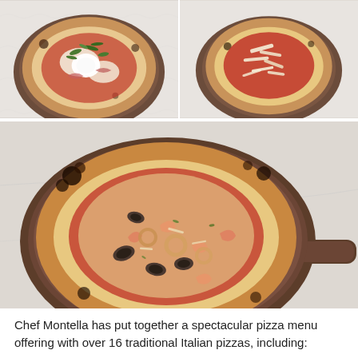[Figure (photo): Top-left photo of a Neapolitan-style pizza with burrata and arugula on a dark wooden board, on a marble surface.]
[Figure (photo): Top-right photo of a red sauce pizza with shaved parmesan on a round dark wooden board, on a marble surface.]
[Figure (photo): Large center photo of a seafood Neapolitan pizza with mussels, shrimp, and calamari on a dark wooden paddle board, on a marble surface.]
Chef Montella has put together a spectacular pizza menu offering with over 16 traditional Italian pizzas, including: